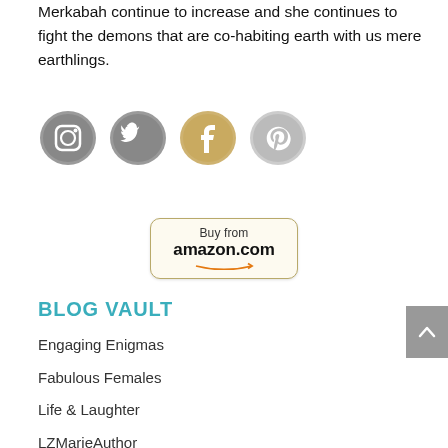Merkabah continue to increase and she continues to fight the demons that are co-habiting earth with us mere earthlings.
[Figure (illustration): Four social media icons in a row: Instagram (gray grunge style), Twitter (gray grunge style), Facebook (gold/tan grunge style), Pinterest (light gray grunge style)]
[Figure (illustration): Buy from amazon.com button with rounded rectangle border and Amazon arrow logo]
BLOG VAULT
Engaging Enigmas
Fabulous Females
Life & Laughter
LZMarieAuthor
Reading & Writing